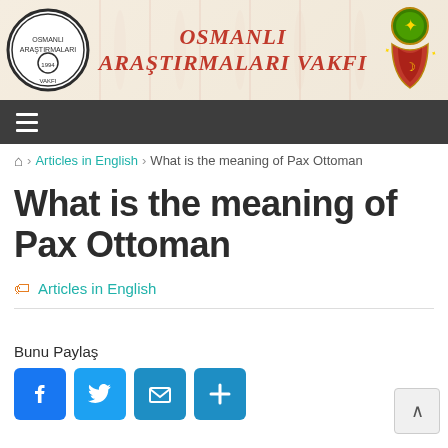OSMANLI ARAŞTIRMALARI VAKFI
What is the meaning of Pax Ottoman
Articles in English › What is the meaning of Pax Ottoman
Articles in English
Bunu Paylaş